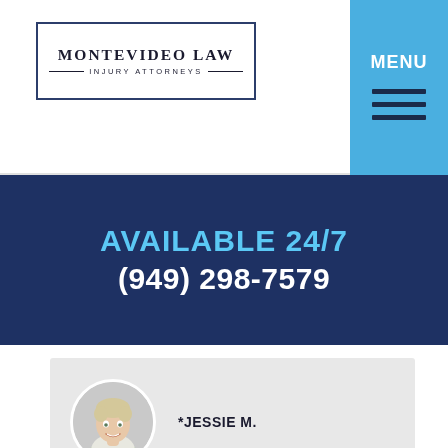[Figure (logo): Montevideo Law Injury Attorneys logo with rectangular border]
[Figure (other): Blue menu button with MENU text and hamburger lines]
AVAILABLE 24/7
(949) 298-7579
[Figure (photo): Circular profile photo of Jessie M., a smiling woman with short light hair]
*JESSIE M.